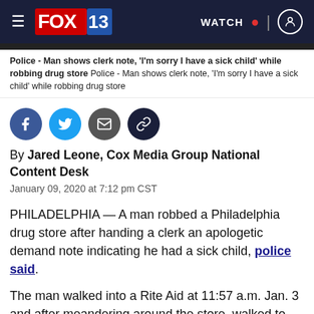FOX 13 — WATCH
Police - Man shows clerk note, 'I'm sorry I have a sick child' while robbing drug store Police - Man shows clerk note, 'I'm sorry I have a sick child' while robbing drug store
[Figure (other): Social media share icons: Facebook, Twitter, Email, Link]
By Jared Leone, Cox Media Group National Content Desk
January 09, 2020 at 7:12 pm CST
PHILADELPHIA — A man robbed a Philadelphia drug store after handing a clerk an apologetic demand note indicating he had a sick child, police said.
The man walked into a Rite Aid at 11:57 a.m. Jan. 3 and after meandering around the store, walked to